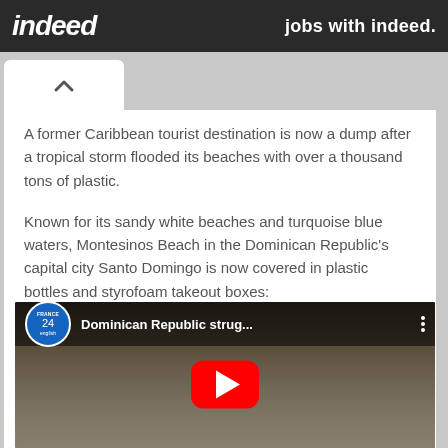[Figure (screenshot): Indeed job advertisement banner with white 'indeed' logo on dark background and text 'jobs with indeed.']
A former Caribbean tourist destination is now a dump after a tropical storm flooded its beaches with over a thousand tons of plastic.
Known for its sandy white beaches and turquoise blue waters, Montesinos Beach in the Dominican Republic's capital city Santo Domingo is now covered in plastic bottles and styrofoam takeout boxes:
[Figure (screenshot): YouTube video embed showing France 24 English video titled 'Dominican Republic strug...' with video thumbnail showing a beach covered in trash/plastic waste with people visible, and a red YouTube play button overlay.]